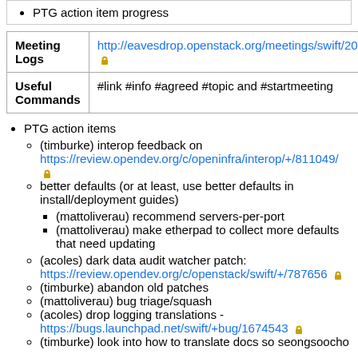PTG action item progress
| Meeting Logs | http://eavesdrop.openstack.org/meetings/swift/2021/🔒 |
| --- | --- |
| Useful Commands | #link #info #agreed #topic and #startmeeting |
PTG action items
(timburke) interop feedback on https://review.opendev.org/c/openinfra/interop/+/811049/ 🔒
better defaults (or at least, use better defaults in install/deployment guides)
(mattoliverau) recommend servers-per-port
(mattoliverau) make etherpad to collect more defaults that need updating
(acoles) dark data audit watcher patch: https://review.opendev.org/c/openstack/swift/+/787656 🔒
(timburke) abandon old patches
(mattoliverau) bug triage/squash
(acoles) drop logging translations - https://bugs.launchpad.net/swift/+bug/1674543 🔒
(timburke) look into how to translate docs so seongsoocho